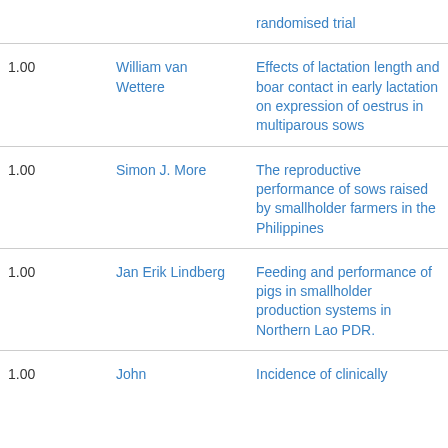| Score | Author | Title |
| --- | --- | --- |
|  |  | randomised trial |
| 1.00 | William van Wettere | Effects of lactation length and boar contact in early lactation on expression of oestrus in multiparous sows |
| 1.00 | Simon J. More | The reproductive performance of sows raised by smallholder farmers in the Philippines |
| 1.00 | Jan Erik Lindberg | Feeding and performance of pigs in smallholder production systems in Northern Lao PDR. |
| 1.00 | John | Incidence of clinically |